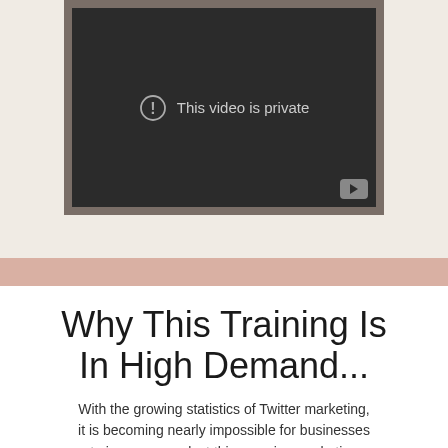[Figure (screenshot): Embedded video player showing 'This video is private' message with a circular exclamation icon and a YouTube play button in the bottom right corner. The player has a dark gray/charcoal background with a brownish outer frame.]
Why This Training Is In High Demand...
With the growing statistics of Twitter marketing, it is becoming nearly impossible for businesses to ignore or neglect this amazing marketing